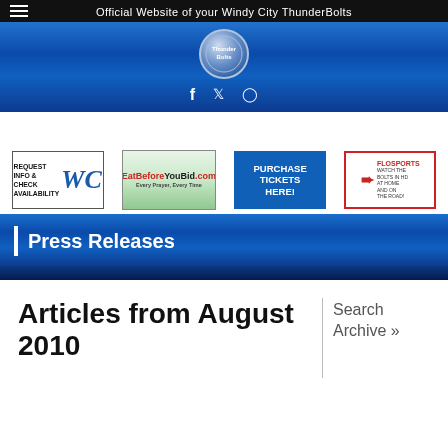Official Website of your Windy City ThunderBolts
[Figure (logo): Windy City ThunderBolts logo circle with social media icons (Facebook, Twitter, Instagram) on blue gradient background]
[Figure (infographic): Four advertisement banners: Request Info & Check Availability, EatBeforeYouBid.com, Purchase Tickets Here!, FloSports Watch the Bolts in HD]
Press Releases
Articles from August 2010
Search Archive »